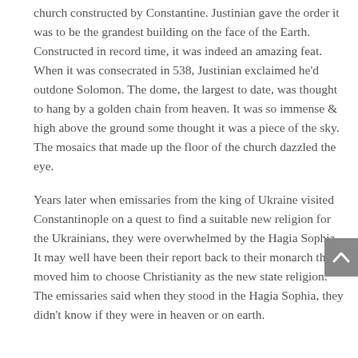church constructed by Constantine. Justinian gave the order it was to be the grandest building on the face of the Earth. Constructed in record time, it was indeed an amazing feat. When it was consecrated in 538, Justinian exclaimed he’d outdone Solomon. The dome, the largest to date, was thought to hang by a golden chain from heaven. It was so immense & high above the ground some thought it was a piece of the sky. The mosaics that made up the floor of the church dazzled the eye.
Years later when emissaries from the king of Ukraine visited Constantinople on a quest to find a suitable new religion for the Ukrainians, they were overwhelmed by the Hagia Sophia. It may well have been their report back to their monarch that moved him to choose Christianity as the new state religion. The emissaries said when they stood in the Hagia Sophia, they didn’t know if they were in heaven or on earth.